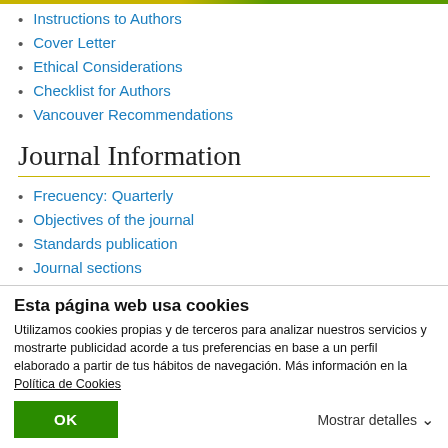Instructions to Authors
Cover Letter
Ethical Considerations
Checklist for Authors
Vancouver Recommendations
Journal Information
Frecuency: Quarterly
Objectives of the journal
Standards publication
Journal sections
Information
Esta página web usa cookies
Utilizamos cookies propias y de terceros para analizar nuestros servicios y mostrarte publicidad acorde a tus preferencias en base a un perfil elaborado a partir de tus hábitos de navegación. Más información en la Política de Cookies
OK
Mostrar detalles